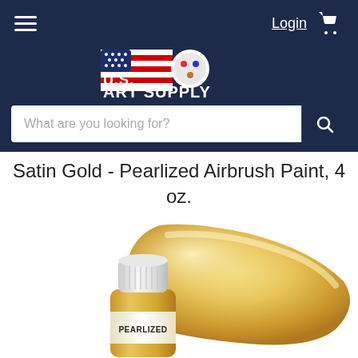U.S. Art Supply navigation bar with hamburger menu, Login link, cart icon, logo, and search bar
Satin Gold - Pearlized Airbrush Paint, 4 oz.
[Figure (photo): Product photo showing a small cylindrical bottle of Satin Gold Pearlized airbrush paint with a white cap and gold label reading PEARLIZED, beside a large gold pearlized paint swatch]